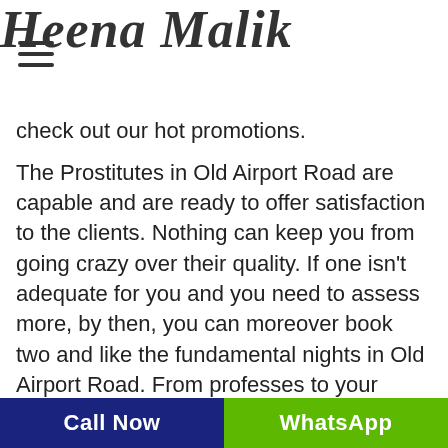Heena Malik
check out our hot promotions.
The Prostitutes in Old Airport Road are capable and are ready to offer satisfaction to the clients. Nothing can keep you from going crazy over their quality. If one isn't adequate for you and you need to assess more, by then, you can moreover book two and like the fundamental nights in Old Airport Road. From professes to your fantasies, she will be your slave and cause you to get the best while you can't stop outpouring out. From testing Call Girls Escorts with the most molded up body to the individuals who love full ones, the administrations have one for everyone. The
Call Now | WhatsApp